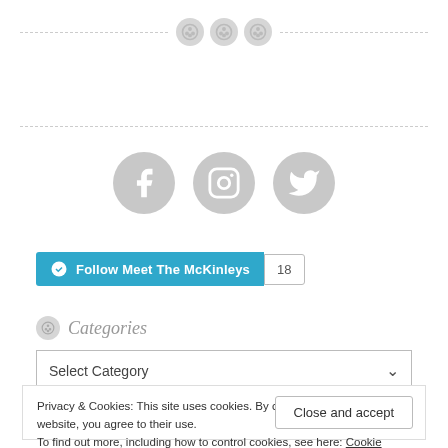[Figure (illustration): Top decorative divider with three button/stitch circle icons centered on a dashed horizontal line]
[Figure (illustration): Dashed horizontal divider line]
[Figure (illustration): Three social media icon circles (Facebook, Instagram, Twitter) in gray]
[Figure (screenshot): WordPress Follow button labeled 'Follow Meet The McKinleys' with count badge showing 18]
Categories
[Figure (screenshot): Select Category dropdown box]
Privacy & Cookies: This site uses cookies. By continuing to use this website, you agree to their use.
To find out more, including how to control cookies, see here: Cookie Policy
Close and accept